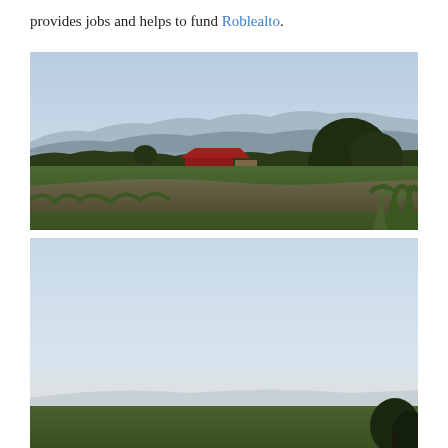provides jobs and helps to fund Roblealto.
[Figure (photo): Landscape photograph at dusk showing a rural farm scene with wooden fence posts, green grass, a red-roofed building, trees, and mountains under a pale blue-pink sky.]
[Figure (photo): Partial landscape photograph at dusk showing a pale sky with very faint mountain silhouette and a dark tree visible at lower right.]